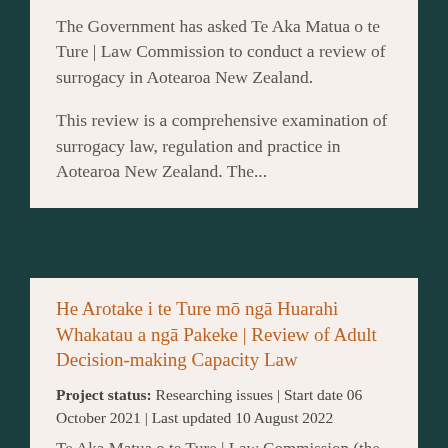The Government has asked Te Aka Matua o te Ture | Law Commission to conduct a review of surrogacy in Aotearoa New Zealand.
This review is a comprehensive examination of surrogacy law, regulation and practice in Aotearoa New Zealand. The...
He Arotake i te Ture mō ngā Huarahi Whakatau a ngā Pakeke | Review of Adult Decision-making Capacity Law
Project status: Researching issues | Start date 06 October 2021 | Last updated 10 August 2022
Te Aka Matua o te Ture | Law Commission (the Commission) will